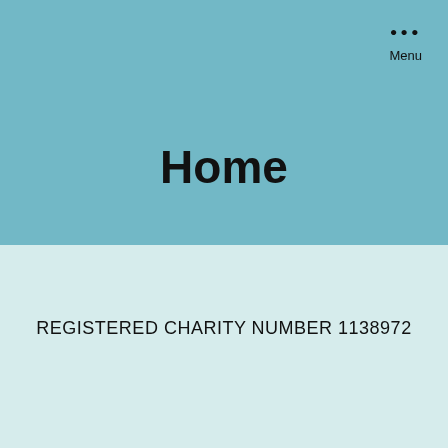[Figure (screenshot): Top teal/medium-blue background section of a webpage]
••• Menu
Home
[Figure (screenshot): Bottom light mint/pale-blue background section of a webpage]
REGISTERED CHARITY NUMBER 1138972